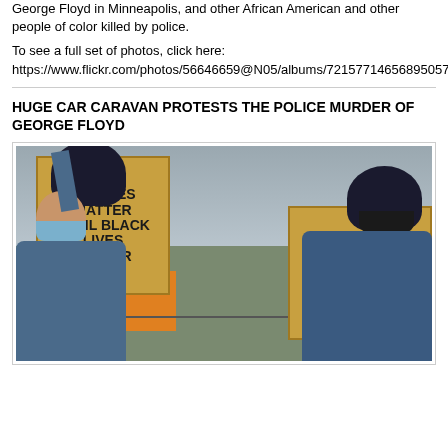George Floyd in Minneapolis, and other African American and other people of color killed by police.
To see a full set of photos, click here:  https://www.flickr.com/photos/56646659@N05/albums/72157714656895057
HUGE CAR CARAVAN PROTESTS THE POLICE MURDER OF GEORGE FLOYD
[Figure (photo): Two protesters holding signs at a car caravan protest. One sign reads 'NO LIVES MATTER UNTIL BLACK LIVES MATTER' and another reads 'NO JUSTICE NO PEACE' with a raised fist symbol. Both protesters are wearing face masks.]